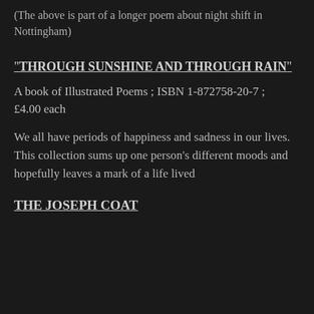(The above is part of a longer poem about night shift in Nottingham)
“THROUGH SUNSHINE AND THROUGH RAIN”
A book of Illustrated Poems ; ISBN 1-872758-20-7 ; £4.00 each
We all have periods of happiness and sadness in our lives.  This collection sums up one person’s different moods and hopefully leaves a mark of a life lived
THE JOSEPH COAT